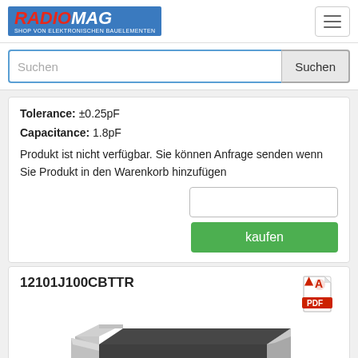[Figure (logo): RADIOMAG logo - shop von elektronischen Bauelementen]
Suchen
Tolerance: ±0.25pF
Capacitance: 1.8pF
Produkt ist nicht verfügbar. Sie können Anfrage senden wenn Sie Produkt in den Warenkorb hinzufügen
kaufen
12101J100CBTTR
[Figure (photo): SMD ceramic capacitor component photo - rectangular chip capacitor with dark body and silver/grey terminals on both ends, shown in 3D perspective view]